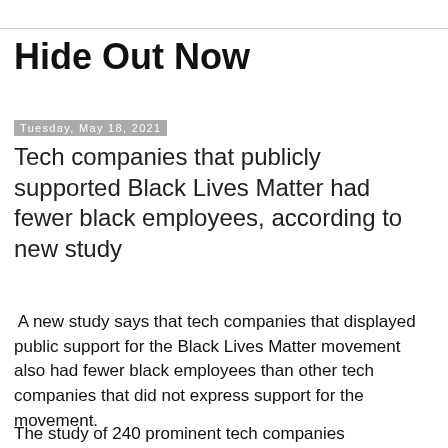Hide Out Now
Tuesday, May 18, 2021
Tech companies that publicly supported Black Lives Matter had fewer black employees, according to new study
A new study says that tech companies that displayed public support for the Black Lives Matter movement also had fewer black employees than other tech companies that did not express support for the movement.
The study of 240 prominent tech companies...